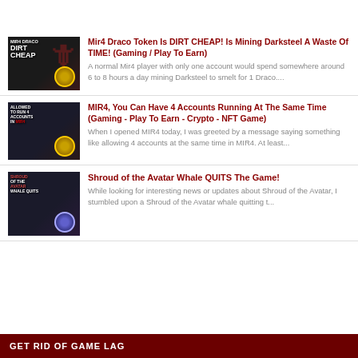[Figure (photo): Thumbnail for Mir4 Draco Dirt Cheap article]
Mir4 Draco Token Is DIRT CHEAP! Is Mining Darksteel A Waste Of TIME! (Gaming / Play To Earn)
A normal Mir4 player with only one account would spend somewhere around 6 to 8 hours a day mining Darksteel to smelt for 1 Draco....
[Figure (photo): Thumbnail for MIR4 4 Accounts article]
MIR4, You Can Have 4 Accounts Running At The Same Time (Gaming - Play To Earn - Crypto - NFT Game)
When I opened MIR4 today, I was greeted by a message saying something like allowing 4 accounts at the same time in MIR4. At least...
[Figure (photo): Thumbnail for Shroud of the Avatar Whale QUITS article]
Shroud of the Avatar Whale QUITS The Game!
While looking for interesting news or updates about Shroud of the Avatar, I stumbled upon a Shroud of the Avatar whale quitting t...
GET RID OF GAME LAG